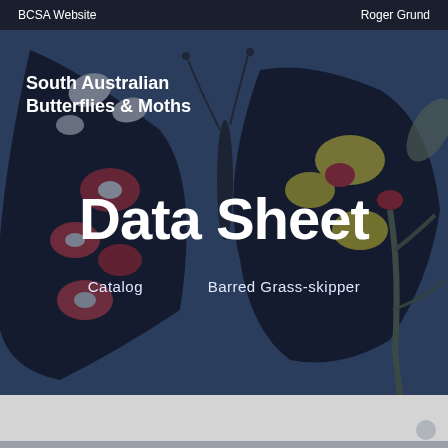BCSA Website    Roger Grund
[Figure (photo): A close-up photograph of a butterfly with black wings featuring white, red, and yellow markings, set against a dark blue-tinted overlay background. The butterfly appears to be a Jezebel or similar species.]
South Australian Butterflies & Moths
Data Sheet
Catalog    Barred Grass-skipper